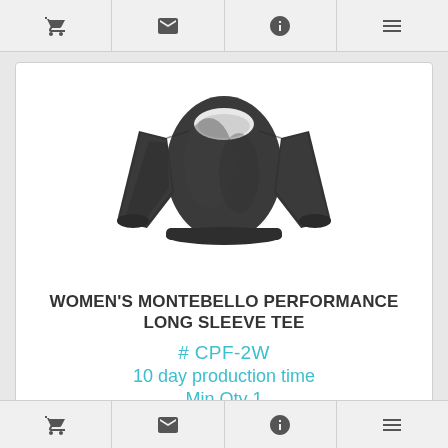[toolbar icons: cart, mail, info, list]
[Figure (photo): Women's dark charcoal long sleeve performance tee shirt displayed on invisible mannequin, scoop neck, fitted cut]
WOMEN'S MONTEBELLO PERFORMANCE LONG SLEEVE TEE
# CPF-2W
10 day production time
Min Qty 1
[toolbar icons: cart, mail, info, list]